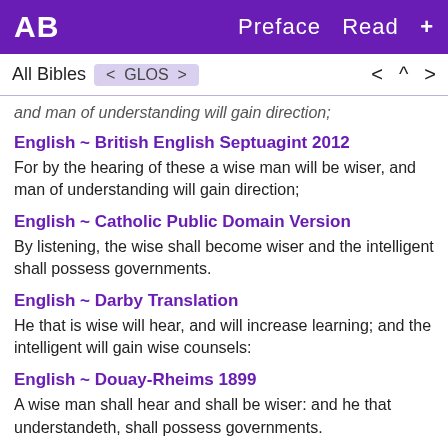AB  Preface  Read  +
All Bibles  < GLOS >  <  ^  >
and man of understanding will gain direction;
English ~ British English Septuagint 2012
For by the hearing of these a wise man will be wiser, and man of understanding will gain direction;
English ~ Catholic Public Domain Version
By listening, the wise shall become wiser and the intelligent shall possess governments.
English ~ Darby Translation
He that is wise will hear, and will increase learning; and the intelligent will gain wise counsels:
English ~ Douay-Rheims 1899
A wise man shall hear and shall be wiser: and he that understandeth, shall possess governments.